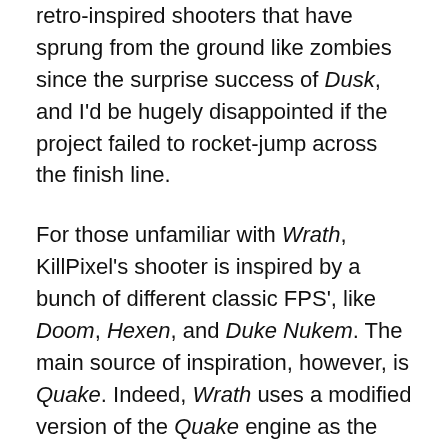retro-inspired shooters that have sprung from the ground like zombies since the surprise success of Dusk, and I'd be hugely disappointed if the project failed to rocket-jump across the finish line.
For those unfamiliar with Wrath, KillPixel's shooter is inspired by a bunch of different classic FPS', like Doom, Hexen, and Duke Nukem. The main source of inspiration, however, is Quake. Indeed, Wrath uses a modified version of the Quake engine as the base for its technology, making it more authentically retro than most of its contemporaries.
Don't make the mistake of thinking you'll be running around a bunch of cramped brown corridors,